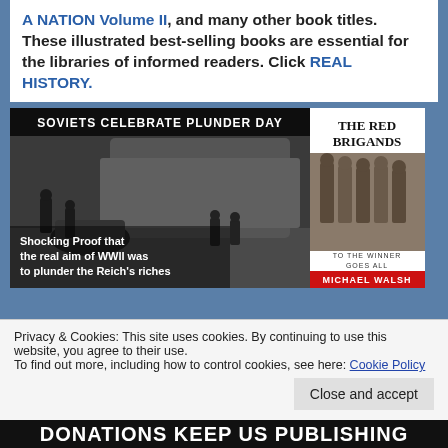A NATION Volume II, and many other book titles. These illustrated best-selling books are essential for the libraries of informed readers. Click REAL HISTORY.
[Figure (photo): Black and white photograph with overlay text. Header: 'SOVIETS CELEBRATE PLUNDER DAY'. Body text: 'Shocking Proof that the real aim of WWII was to plunder the Reich's riches'. Shows soldiers loading items onto an aircraft.]
[Figure (photo): Book cover for 'The Red Brigands' by Michael Walsh. Subtitle: 'To the Winner Goes All'. Shows military figures walking. Red and white cover design.]
Privacy & Cookies: This site uses cookies. By continuing to use this website, you agree to their use.
To find out more, including how to control cookies, see here: Cookie Policy
Close and accept
DONATIONS KEEP US PUBLISHING